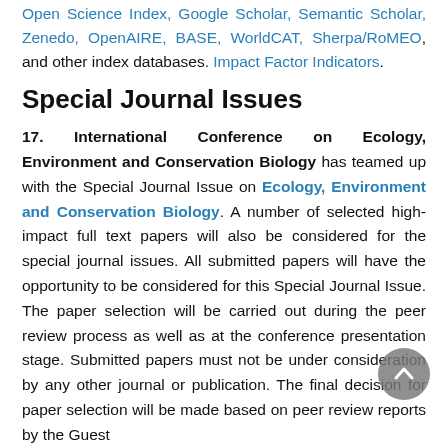Open Science Index, Google Scholar, Semantic Scholar, Zenedo, OpenAIRE, BASE, WorldCAT, Sherpa/RoMEO, and other index databases. Impact Factor Indicators.
Special Journal Issues
17. International Conference on Ecology, Environment and Conservation Biology has teamed up with the Special Journal Issue on Ecology, Environment and Conservation Biology. A number of selected high-impact full text papers will also be considered for the special journal issues. All submitted papers will have the opportunity to be considered for this Special Journal Issue. The paper selection will be carried out during the peer review process as well as at the conference presentation stage. Submitted papers must not be under consideration by any other journal or publication. The final decision for paper selection will be made based on peer review reports by the Guest